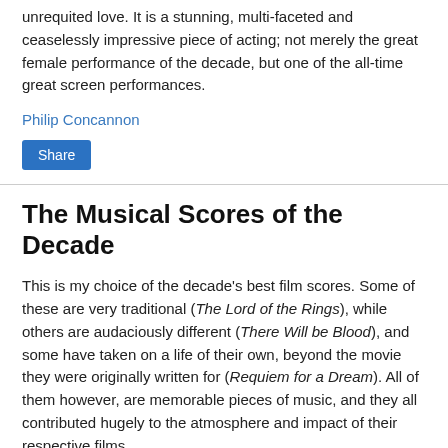unrequited love. It is a stunning, multi-faceted and ceaselessly impressive piece of acting; not merely the great female performance of the decade, but one of the all-time great screen performances.
Philip Concannon
Share
The Musical Scores of the Decade
This is my choice of the decade's best film scores. Some of these are very traditional (The Lord of the Rings), while others are audaciously different (There Will be Blood), and some have taken on a life of their own, beyond the movie they were originally written for (Requiem for a Dream). All of them however, are memorable pieces of music, and they all contributed hugely to the atmosphere and impact of their respective films.
10 – The Lord of the Rings trilogy by Howard Shore (2001 – 2003)